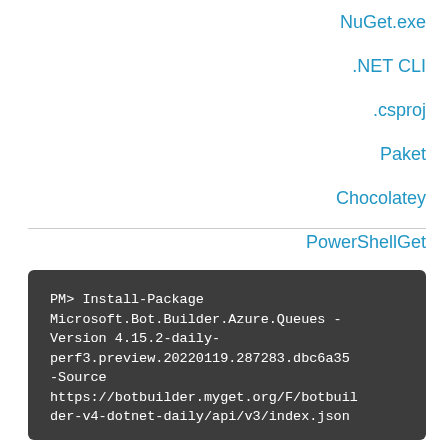NuGet.exe
.NET CLI
.csproj
Paket
Chocolatey
PowerShellGet
PM> Install-Package Microsoft.Bot.Builder.Azure.Queues -Version 4.15.2-daily-perf3.preview.20220119.287283.dbc6a35 -Source https://botbuilder.myget.org/F/botbuilder-v4-dotnet-daily/api/v3/index.json